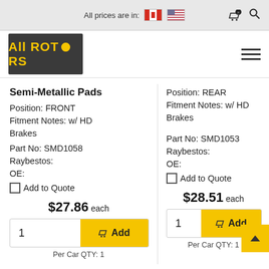All prices are in: [CA flag] [US flag]
[Figure (logo): All Rotors logo - dark grey background with yellow text]
Semi-Metallic Pads
Position: FRONT
Fitment Notes: w/ HD Brakes
Part No: SMD1058
Raybestos:
OE:
Add to Quote
$27.86 each
1  Add
Per Car QTY: 1
Position: REAR
Fitment Notes: w/ HD Brakes
Part No: SMD1053
Raybestos:
OE:
Add to Quote
$28.51 each
1  Add
Per Car QTY: 1